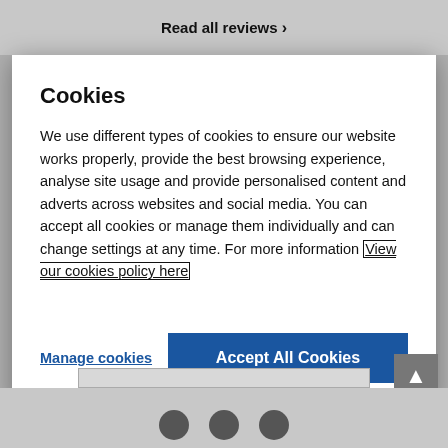Read all reviews ›
Cookies
We use different types of cookies to ensure our website works properly, provide the best browsing experience, analyse site usage and provide personalised content and adverts across websites and social media. You can accept all cookies or manage them individually and can change settings at any time. For more information View our cookies policy here
Manage cookies
Accept All Cookies